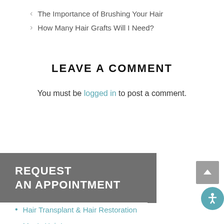< The Importance of Brushing Your Hair
> How Many Hair Grafts Will I Need?
LEAVE A COMMENT
You must be logged in to post a comment.
REQUEST AN APPOINTMENT
Hair Transplant & Hair Restoration
Men's Hair Loss